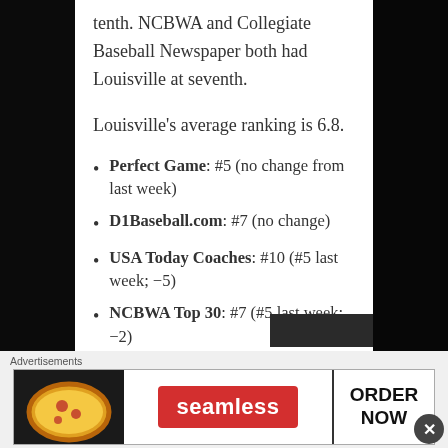tenth. NCBWA and Collegiate Baseball Newspaper both had Louisville at seventh.
Louisville's average ranking is 6.8.
Perfect Game: #5 (no change from last week)
D1Baseball.com: #7 (no change)
USA Today Coaches: #10 (#5 last week; -5)
NCBWA Top 30: #7 (#5 last week; -2)
Baseball America: #5 (#6 last week; -
[Figure (screenshot): Seamless food delivery advertisement banner showing pizza image on left, Seamless red logo button in center, and ORDER NOW text button on right]
Advertisements